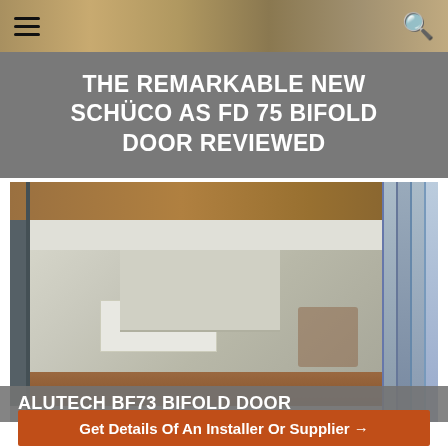[Figure (photo): Top strip photo showing wooden/natural materials, partially visible]
☰ [hamburger menu] / [search icon]
THE REMARKABLE NEW SCHÜCO AS FD 75 BIFOLD DOOR REVIEWED
[Figure (photo): Photograph of open bifold doors showing modern home interior with kitchen island, wooden floors, and aluminium bifold door panels folded to the right]
ALUTECH BF73 BIFOLD DOOR
Get Details Of An Installer Or Supplier →